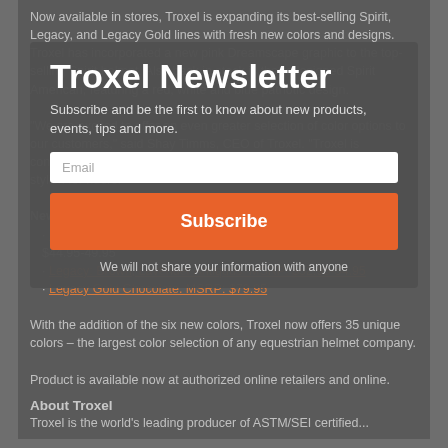Now available in stores, Troxel is expanding its best-selling Spirit, Legacy, and Legacy Gold lines with fresh new colors and designs. Troxel has incorporated a new pink Dreamscape graphic to the top-selling Spirit helmet. Also back in stock is the redesigned Spirit American, featuring a red, white and blue patriotic design.
"We are excited to offer an even greater selection of color options to our customers," said Shay Timms, CEO of Troxel. "Troxel is constantly creating innovative designs..."
New colors for 2011 include:
Spirit: American, Chestnut Duratec, Pink Dreamscape. MSRP: $44.95-49.95
Legacy: Brown, Lavender Antiquus. MSRP: $52.95-54.95
Legacy Gold Chocolate. MSRP: $79.95
With the addition of the six new colors, Troxel now offers 35 unique colors – the largest color selection of any equestrian helmet company.
Product is available now at authorized online retailers and online.
For more information, visit http://www.troxelhelmets.com/ or http://www.Facebook.com/Troxelhelmets.
[Figure (other): Newsletter subscription modal overlay with title 'Troxel Newsletter', subtitle 'Subscribe and be the first to know about new products, events, tips and more.', an email input field, orange Subscribe button, and footer text 'We will not share your information with anyone']
About Troxel
Troxel is the world's leading producer of ASTM/SEI certified...